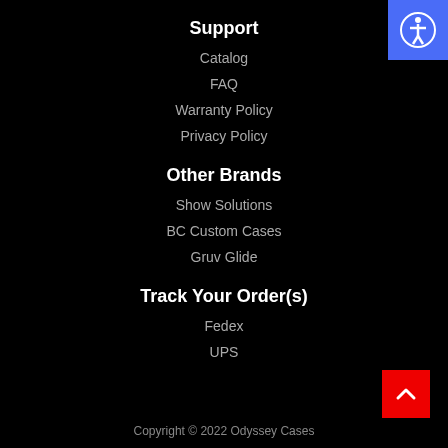Support
Catalog
FAQ
Warranty Policy
Privacy Policy
Other Brands
Show Solutions
BC Custom Cases
Gruv Glide
Track Your Order(s)
Fedex
UPS
Copyright © 2022 Odyssey Cases